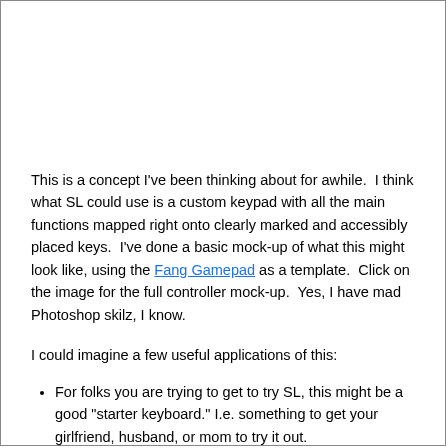This is a concept I've been thinking about for awhile.  I think what SL could use is a custom keypad with all the main functions mapped right onto clearly marked and accessibly placed keys.  I've done a basic mock-up of what this might look like, using the Fang Gamepad as a template.  Click on the image for the full controller mock-up.  Yes, I have mad Photoshop skilz, I know.
I could imagine a few useful applications of this:
For folks you are trying to get to try SL, this might be a good "starter keyboard." I.e. something to get your girlfriend, husband, or mom to try it out.
The partial lower text (cut off)